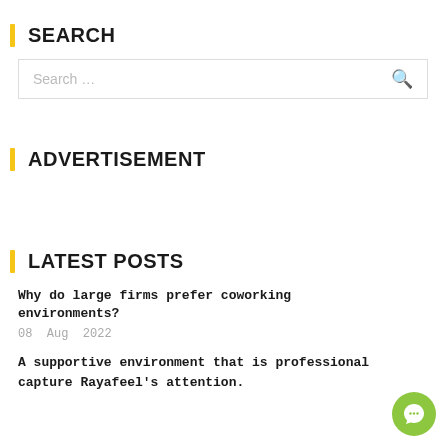SEARCH
Search …
ADVERTISEMENT
LATEST POSTS
Why do large firms prefer coworking environments?
08 Aug 2022
A supportive environment that is professional capture Rayafeel's attention.